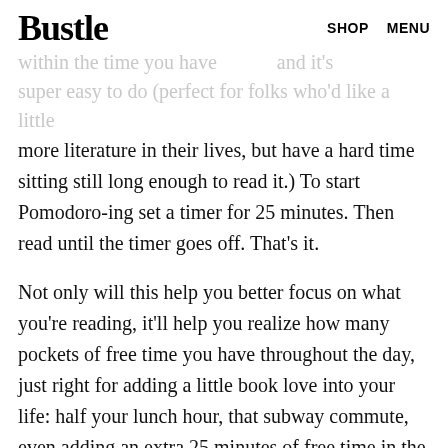Bustle   SHOP   MENU
…within the time you have…and it's super easy to do (perfect for folks who'd like a little more literature in their lives, but have a hard time sitting still long enough to read it.) To start Pomodoro-ing set a timer for 25 minutes. Then read until the timer goes off. That's it.
Not only will this help you better focus on what you're reading, it'll help you realize how many pockets of free time you have throughout the day, just right for adding a little book love into your life: half your lunch hour, that subway commute, even adding an extra 25 minutes of free time in the morning or before you go to sleep. Those minutes will add up to entire books before you know it.